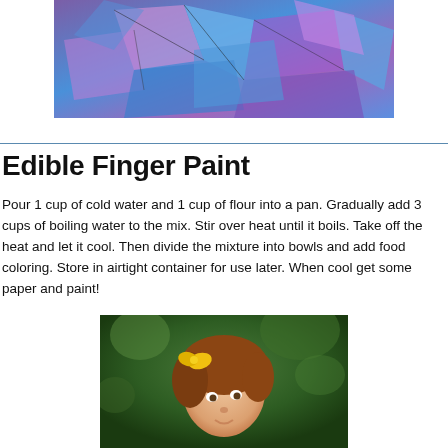[Figure (photo): Abstract finger paint art with blue and purple colors, viewed from above]
Edible Finger Paint
Pour 1 cup of cold water and 1 cup of flour into a pan. Gradually add 3 cups of boiling water to the mix. Stir over heat until it boils. Take off the heat and let it cool. Then divide the mixture into bowls and add food coloring. Store in airtight container for use later. When cool get some paper and paint!
[Figure (photo): Young girl with red hair and yellow bow hair clip looking up, green bokeh background]